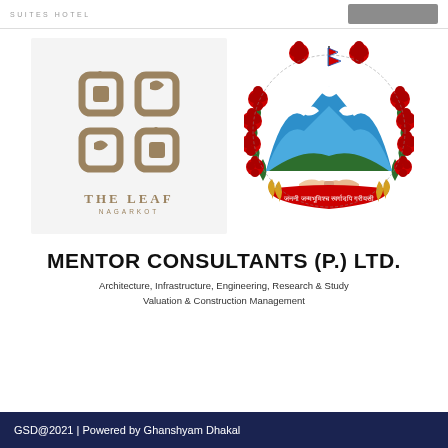SUITES HOTEL
[Figure (logo): The Leaf Nagarkot hotel logo — decorative leaf/branch ornamental pattern in brown/tan color on light grey background with text THE LEAF NAGARKOT below]
[Figure (logo): Nepal government emblem — circular emblem with Himalayan mountains, rhododendron flowers wreath, Nepal flag, handshake, and Devanagari script text]
MENTOR CONSULTANTS (P.) LTD.
Architecture, Infrastructure, Engineering, Research & Study
Valuation & Construction Management
GSD@2021 | Powered by Ghanshyam Dhakal